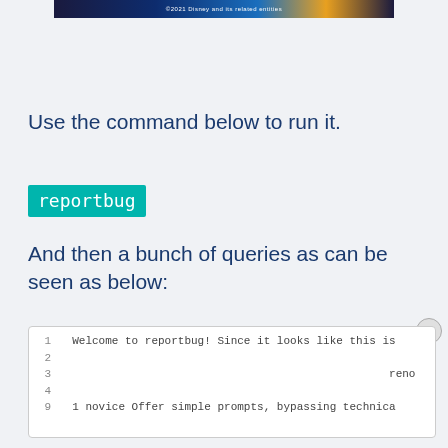[Figure (screenshot): Dark banner strip with Disney copyright text: ©2021 Disney and its related entities, gradient from dark navy to gold]
Use the command below to run it.
reportbug
And then a bunch of queries as can be seen as below:
[Figure (screenshot): Code editor area showing numbered lines: 1 Welcome to reportbug! Since it looks like this is, 2 (blank), 3 (partial) reno, 4 (blank), 9 1 novice Offer simple prompts, bypassing technica. Overlaid with HEADERBIDDING.COM advertisement banner.]